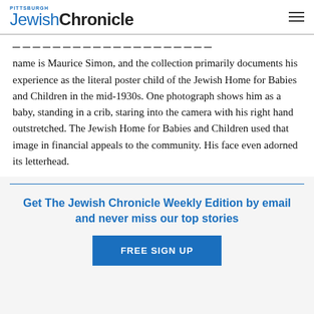PITTSBURGH Jewish Chronicle
name is Maurice Simon, and the collection primarily documents his experience as the literal poster child of the Jewish Home for Babies and Children in the mid-1930s. One photograph shows him as a baby, standing in a crib, staring into the camera with his right hand outstretched. The Jewish Home for Babies and Children used that image in financial appeals to the community. His face even adorned its letterhead.
Get The Jewish Chronicle Weekly Edition by email and never miss our top stories
FREE SIGN UP